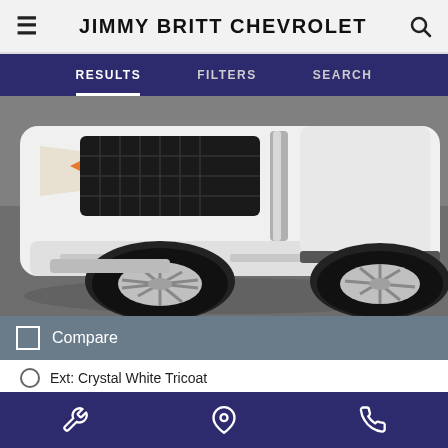JIMMY BRITT CHEVROLET
RESULTS   FILTERS   SEARCH
[Figure (photo): Close-up front view of a white SUV (Cadillac XT6) showing the front bumper, wheel, and chrome details on a pavement background.]
Compare
Ext: Crystal White Tricoat
Int: Jet Black
Stock #: B5201
3,750 mi.
Price   $91,777
wrench icon   location icon   phone icon